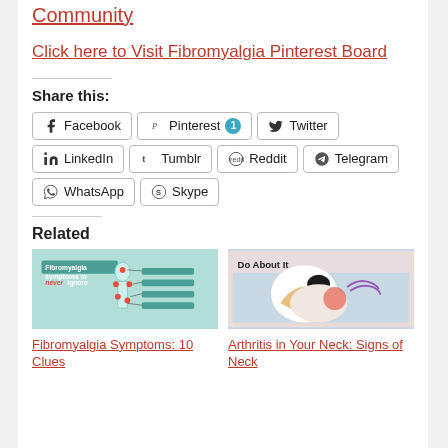Community
Click here to Visit Fibromyalgia Pinterest Board
Share this:
Facebook
Pinterest 1
Twitter
LinkedIn
Tumblr
Reddit
Telegram
WhatsApp
Skype
Related
[Figure (illustration): Fibromyalgia symptoms diagram showing body with pain points]
Fibromyalgia Symptoms: 10 Clues
[Figure (illustration): Illustration of person with neck pain - Arthritis in Your Neck]
Arthritis in Your Neck: Signs of Neck